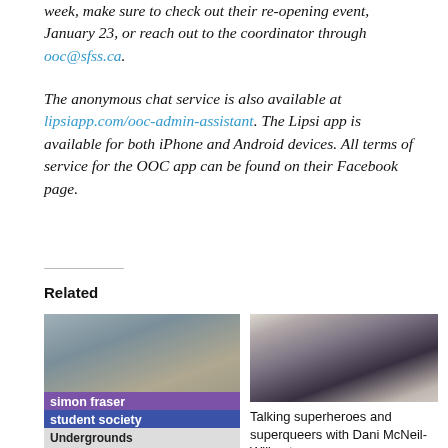week, make sure to check out their re-opening event, January 23, or reach out to the coordinator through ooc@sfss.ca.
The anonymous chat service is also available at lipsiapp.com/ooc-admin-assistant. The Lipsi app is available for both iPhone and Android devices. All terms of service for the OOC app can be found on their Facebook page.
Related
[Figure (photo): Photo of Simon Fraser Student Society sign with Undergrounds text below]
[Figure (photo): Photo of a person with short light hair wearing glasses and a dark jacket outdoors]
Talking superheroes and superqueers with Dani McNeil-Willmot